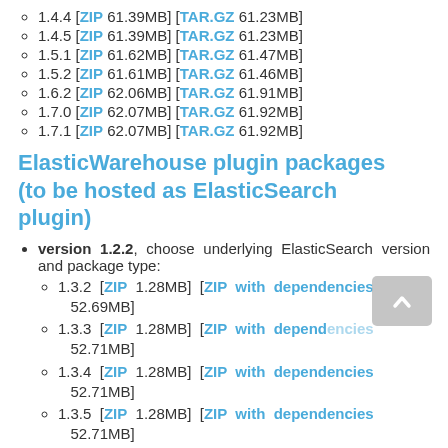1.4.4 [ZIP 61.39MB] [TAR.GZ 61.23MB]
1.4.5 [ZIP 61.39MB] [TAR.GZ 61.23MB]
1.5.1 [ZIP 61.62MB] [TAR.GZ 61.47MB]
1.5.2 [ZIP 61.61MB] [TAR.GZ 61.46MB]
1.6.2 [ZIP 62.06MB] [TAR.GZ 61.91MB]
1.7.0 [ZIP 62.07MB] [TAR.GZ 61.92MB]
1.7.1 [ZIP 62.07MB] [TAR.GZ 61.92MB]
ElasticWarehouse plugin packages (to be hosted as ElasticSearch plugin)
version 1.2.2, choose underlying ElasticSearch version and package type:
1.3.2  [ZIP  1.28MB]  [ZIP with dependencies 52.69MB]
1.3.3  [ZIP  1.28MB]  [ZIP with dependencies 52.71MB]
1.3.4  [ZIP  1.28MB]  [ZIP with dependencies 52.71MB]
1.3.5  [ZIP  1.28MB]  [ZIP with dependencies 52.71MB]
1.3.6  [ZIP  1.28MB]  [ZIP with dependencies